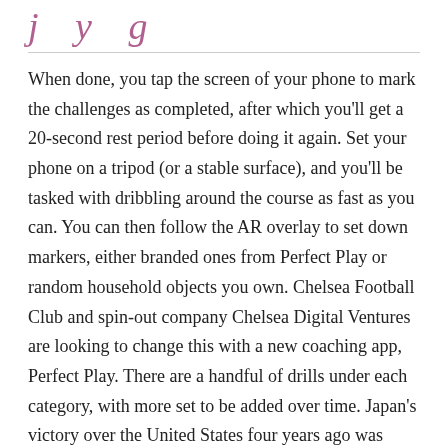j y g
When done, you tap the screen of your phone to mark the challenges as completed, after which you'll get a 20-second rest period before doing it again. Set your phone on a tripod (or a stable surface), and you'll be tasked with dribbling around the course as fast as you can. You can then follow the AR overlay to set down markers, either branded ones from Perfect Play or random household objects you own. Chelsea Football Club and spin-out company Chelsea Digital Ventures are looking to change this with a new coaching app, Perfect Play. There are a handful of drills under each category, with more set to be added over time. Japan's victory over the United States four years ago was Asia's first-ever World Cup title. I would've said, 'yes maybe in 60 years' time,' and look where we are now. Although his main business was supplying pain-management devices, Doyle also became a Livewell competitor of PPE f